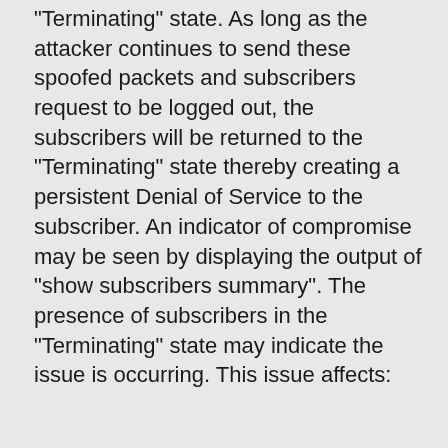"Terminating" state. As long as the attacker continues to send these spoofed packets and subscribers request to be logged out, the subscribers will be returned to the "Terminating" state thereby creating a persistent Denial of Service to the subscriber. An indicator of compromise may be seen by displaying the output of "show subscribers summary". The presence of subscribers in the "Terminating" state may indicate the issue is occurring. This issue affects: